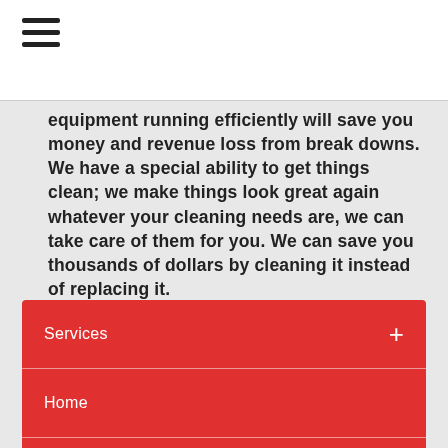[Figure (other): Hamburger menu icon (three horizontal lines) in top-left corner of white header bar]
equipment running efficiently will save you money and revenue loss from break downs. We have a special ability to get things clean; we make things look great again whatever your cleaning needs are, we can take care of them for you. We can save you thousands of dollars by cleaning it instead of replacing it.
Services
Home
ABOUT US
GALLERY
CUSTOMER LOGIN